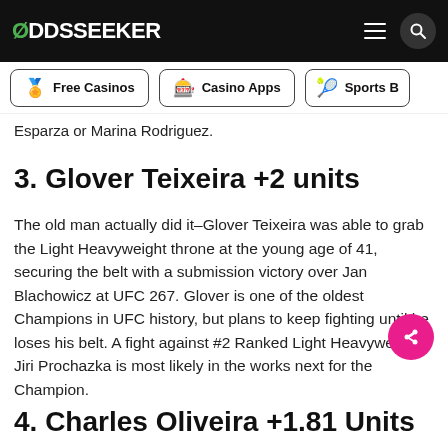ODDSSEEKER
massive head-kick finish, and was able to win the ... thanks to a split decisi...
Esparza or Marina Rodriguez.
3. Glover Teixeira +2 units
The old man actually did it–Glover Teixeira was able to grab the Light Heavyweight throne at the young age of 41, securing the belt with a submission victory over Jan Blachowicz at UFC 267. Glover is one of the oldest Champions in UFC history, but plans to keep fighting until he loses his belt. A fight against #2 Ranked Light Heavyweight Jiri Prochazka is most likely in the works next for the Champion.
4. Charles Oliveira +1.81 Units